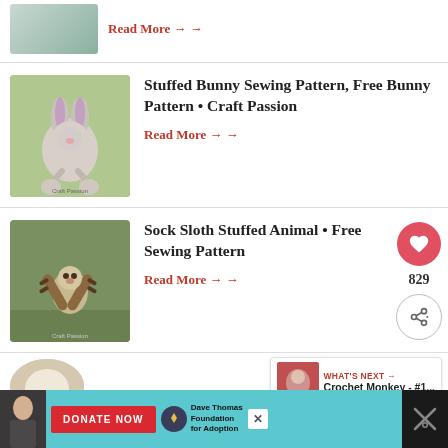Read More →
Stuffed Bunny Sewing Pattern, Free Bunny Pattern • Craft Passion
Read More →
[Figure (photo): Stuffed bunny toy sitting on grass with purple ears and bow]
Sock Sloth Stuffed Animal • Free Sewing Pattern
Read More →
[Figure (photo): Sock sloth stuffed animals hanging on a stick on grass]
829
WHAT'S NEXT → Crochet Monkey - #1...
[Figure (photo): Partial view of another article thumbnail at bottom]
[Figure (infographic): Advertisement banner: Donate Now - Dave Thomas Foundation for Adoption]